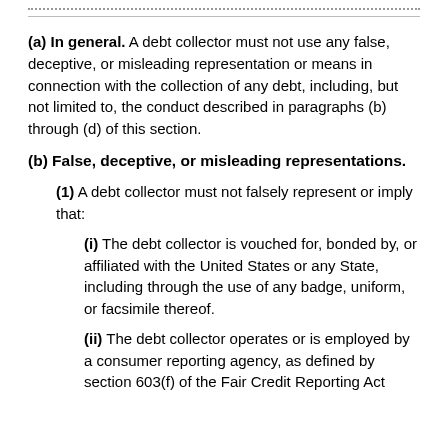(a) In general. A debt collector must not use any false, deceptive, or misleading representation or means in connection with the collection of any debt, including, but not limited to, the conduct described in paragraphs (b) through (d) of this section.
(b) False, deceptive, or misleading representations.
(1) A debt collector must not falsely represent or imply that:
(i) The debt collector is vouched for, bonded by, or affiliated with the United States or any State, including through the use of any badge, uniform, or facsimile thereof.
(ii) The debt collector operates or is employed by a consumer reporting agency, as defined by section 603(f) of the Fair Credit Reporting Act